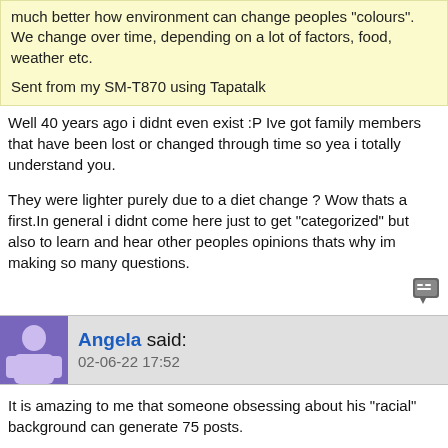much better how environment can change peoples "colours". We change over time, depending on a lot of factors, food, weather etc.

Sent from my SM-T870 using Tapatalk
Well 40 years ago i didnt even exist :P Ive got family members that have been lost or changed through time so yea i totally understand you.

They were lighter purely due to a diet change ? Wow thats a first.In general i didnt come here just to get "categorized" but also to learn and hear other peoples opinions thats why im making so many questions.
Angela said: 02-06-22 17:52
It is amazing to me that someone obsessing about his "racial" background can generate 75 posts.

Each to their own, I guess.